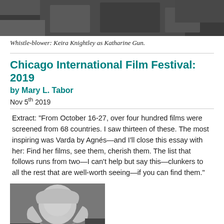[Figure (photo): Top portion of a film still showing figures in dark clothing, partially cropped at the top]
Whistle-blower: Keira Knightley as Katharine Gun.
Chicago International Film Festival: 2019
by Mary L. Tabor
Nov 5th 2019
Extract: "From October 16-27, over four hundred films were screened from 68 countries. I saw thirteen of these. The most inspiring was Varda by Agnés—and I'll close this essay with her: Find her films, see them, cherish them. The list that follows runs from two—I can't help but say this—clunkers to all the rest that are well-worth seeing—if you can find them."
[Figure (photo): Portrait photo of a woman with long silver-white hair, smiling, in a dark setting]